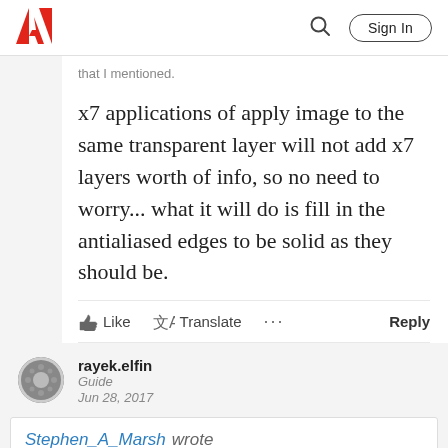Adobe | Sign In
that I mentioned.
x7 applications of apply image to the same transparent layer will not add x7 layers worth of info, so no need to worry... what it will do is fill in the antialiased edges to be solid as they should be.
Like  Translate  ...  Reply
rayek.elfin
Guide
Jun 28, 2017
Stephen_A_Marsh  wrote
x7 applications of apply image to the same transparent layer...